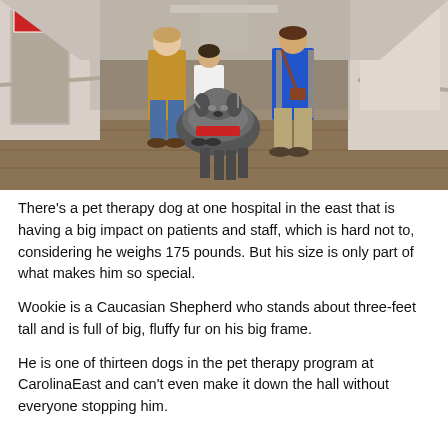[Figure (photo): Photo of two adults and a child walking a large dog (Wookie, a Caucasian Shepherd) down a hospital corridor. The woman on the left is wearing a tan jacket and jeans, the child in the middle wears a white top, and the man on the right wears a blue vest. The large dog has a red bandana/vest.]
There's a pet therapy dog at one hospital in the east that is having a big impact on patients and staff, which is hard not to, considering he weighs 175 pounds. But his size is only part of what makes him so special.
Wookie is a Caucasian Shepherd who stands about three-feet tall and is full of big, fluffy fur on his big frame.
He is one of thirteen dogs in the pet therapy program at CarolinaEast and can't even make it down the hall without everyone stopping him.